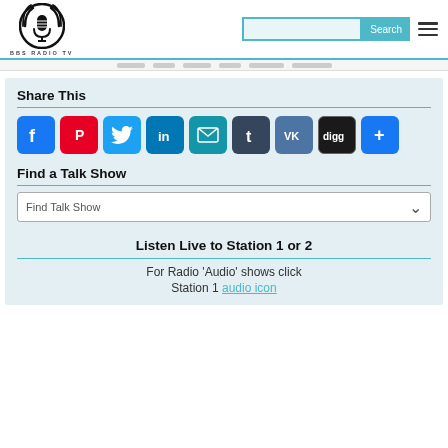[Figure (logo): BBS Radio TV circular logo with microphone icon and sound waves, black and white]
[Figure (screenshot): Search bar with teal Search button and hamburger menu icon]
[Figure (infographic): Social sharing buttons row: Facebook, Pinterest, Twitter, LinkedIn, Email, Tumblr, VK, Digg, More]
Share This
Find a Talk Show
Find Talk Show
Listen Live to Station 1 or 2
For Radio 'Audio' shows click
Station 1 audio icon